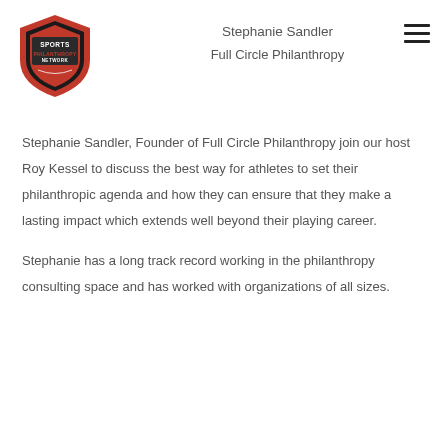[Figure (logo): Sports Philanthropy Network shield logo with red, black, and white colors]
Stephanie Sandler
Full Circle Philanthropy
Stephanie Sandler, Founder of Full Circle Philanthropy join our host Roy Kessel to discuss the best way for athletes to set their philanthropic agenda and how they can ensure that they make a lasting impact which extends well beyond their playing career.
Stephanie has a long track record working in the philanthropy consulting space and has worked with organizations of all sizes.